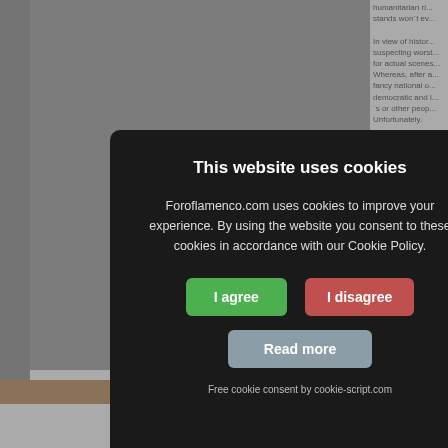humanitarian ri... stands won´t ev... In view of histor... suspecting worst... for actual scenes... Whereas, after a... fancy national o... democratic and l... ´s or other peop... Unfortunately.
It is naive to eve... autonomous, let ... the delegates of ... aristocrats that th...
Don´t even cons... possession, intro... and the precond... and education th...
Ruphus
REPORT THIS
[Figure (screenshot): Cookie consent modal dialog on dark background overlay. Title: 'This website uses cookies'. Body: 'Foroflamenco.com uses cookies to improve your experience. By using the website you consent to these cookies in accordance with our Cookie Policy.' Three buttons: 'I agree' (green), 'I disagree' (red), 'Read more' (grey-blue). Footer: 'Free cookie consent by cookie-script.com']
Page: << < 1 [2] 3 4 5
All Forums >>Discussions >>Off Topic >>
Jump to: